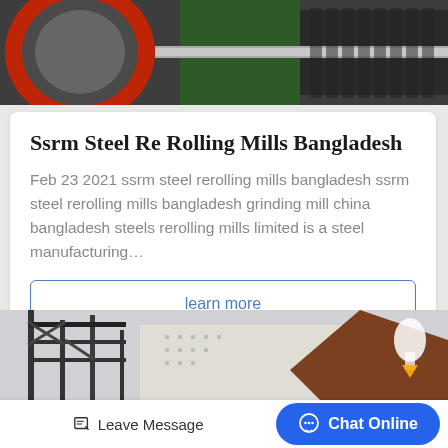[Figure (photo): Close-up photo of industrial steel rolling mill machinery with red and green metal rollers]
Ssrm Steel Re Rolling Mills Bangladesh
Feb 23 2021 ssrm steel rerolling mills bangladesh ssrm steel rerolling mills bangladesh grinding mill china bangladesh steels rerolling mills limited is a steel manufacturing…
learn more
[Figure (photo): Photo of industrial steel mill building exterior with metal scaffolding and large industrial structure]
Leave Message
Chat Online